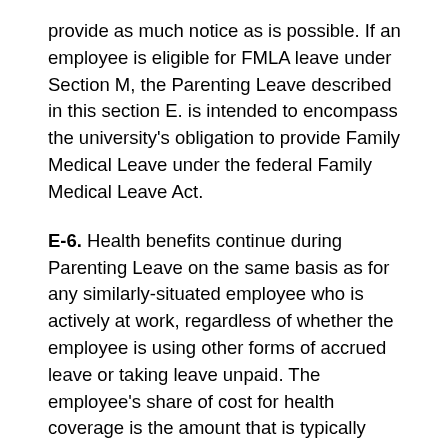provide as much notice as is possible. If an employee is eligible for FMLA leave under Section M, the Parenting Leave described in this section E. is intended to encompass the university's obligation to provide Family Medical Leave under the federal Family Medical Leave Act.
E-6. Health benefits continue during Parenting Leave on the same basis as for any similarly-situated employee who is actively at work, regardless of whether the employee is using other forms of accrued leave or taking leave unpaid. The employee's share of cost for health coverage is the amount that is typically payroll-deducted for the employee's own coverage and/or coverage for his/her dependents. The employee is responsible for payment of these amounts during leave. Payroll deductions will be